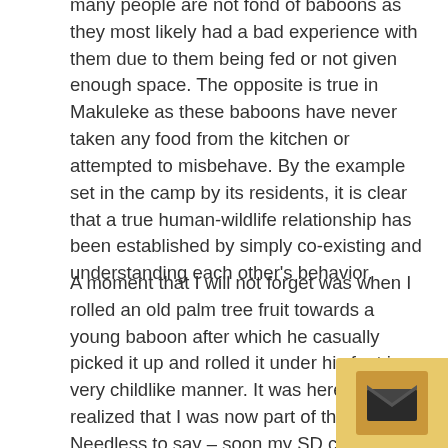many people are not fond of baboons as they most likely had a bad experience with them due to them being fed or not given enough space. The opposite is true in Makuleke as these baboons have never taken any food from the kitchen or attempted to misbehave. By the example set in the camp by its residents, it is clear that a true human-wildlife relationship has been established by simply co-existing and understanding each other's behavior.
A moment that I will not forget was when I rolled an old palm tree fruit towards a young baboon after which he casually picked it up and rolled it under his feet in a very childlike manner. It was here that I realized that I was now part of the troop. Needless to say – soon my SD card was full and the batteries flat. Leaving me to enjoy this sighting for what it is. As sun slowly set the troop meandered around me a